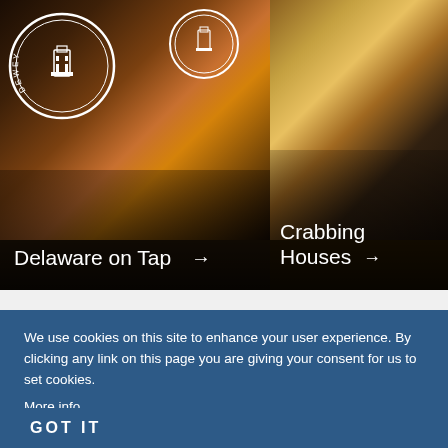[Figure (photo): Left panel: Dewey Beer Co bottle and pint glass on a dark wooden surface, with Dewey Beer Co circular logo visible. Caption reads 'Delaware on Tap' with arrow.]
[Figure (photo): Right panel: A beer mug with crab and food, partially visible. Caption reads 'Crabbing Houses' with arrow.]
We use cookies on this site to enhance your user experience. By clicking any link on this page you are giving your consent for us to set cookies. More info
GOT IT